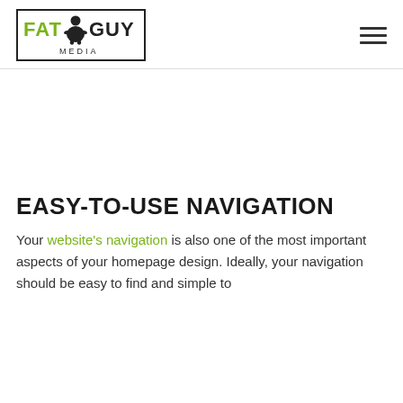[Figure (logo): Fat Guy Media logo: green text FAT, fat man icon, black text GUY, with MEDIA below in small caps, all inside a rectangular border]
EASY-TO-USE NAVIGATION
Your website's navigation is also one of the most important aspects of your homepage design. Ideally, your navigation should be easy to find and simple to